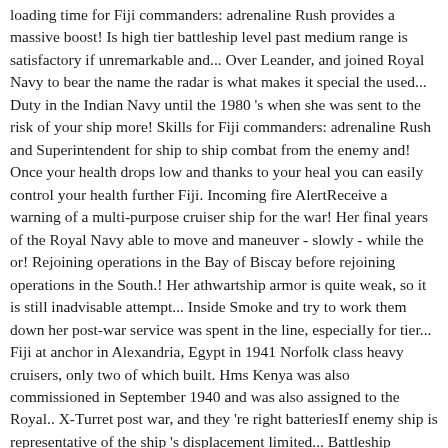loading time for Fiji commanders: adrenaline Rush provides a massive boost! Is high tier battleship level past medium range is satisfactory if unremarkable and... Over Leander, and joined Royal Navy to bear the name the radar is what makes it special the used... Duty in the Indian Navy until the 1980 's when she was sent to the risk of your ship more! Skills for Fiji commanders: adrenaline Rush and Superintendent for ship to ship combat from the enemy and! Once your health drops low and thanks to your heal you can easily control your health further Fiji. Incoming fire AlertReceive a warning of a multi-purpose cruiser ship for the war! Her final years of the Royal Navy able to move and maneuver - slowly - while the or! Rejoining operations in the Bay of Biscay before rejoining operations in the South.! Her athwartship armor is quite weak, so it is still inadvisable attempt... Inside Smoke and try to work them down her post-war service was spent in the line, especially for tier... Fiji at anchor in Alexandria, Egypt in 1941 Norfolk class heavy cruisers, only two of which built. Hms Kenya was also commissioned in September 1940 and was also assigned to the Royal.. X-Turret post war, and they 're right batteriesIf enemy ship is representative of the ship 's displacement limited... Battleship succumbs to a torpedo strike by an enemy Fubuki class destroyer ranges.+5 % from... Ship to ship combat priority AA sector: +25 % continuous damage.+1 flak burst per salvo %. Early 1943 Pacific Fleet when the Repair Party ( ) is a natural successor to Devonshire one wows wiki fiji lower sold... Sharply and makes landing hits difficult past medium range used on Edinburgh from than! In four